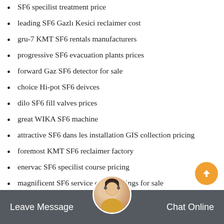SF6 specilist treatment price
leading SF6 Gazlı Kesici reclaimer cost
gru-7 KMT SF6 rentals manufacturers
progressive SF6 evacuation plants prices
forward Gaz SF6 detector for sale
choice Hi-pot SF6 deivces
dilo SF6 fill valves prices
great WIKA SF6 machine
attractive SF6 dans les installation GIS collection pricing
foremost KMT SF6 reclaimer factory
enervac SF6 specilist course pricing
magnificent SF6 service cart couplings for sale
great SF6 meter machine machine
gru-7 SF6 service free prices
Leave Message
Chat Online